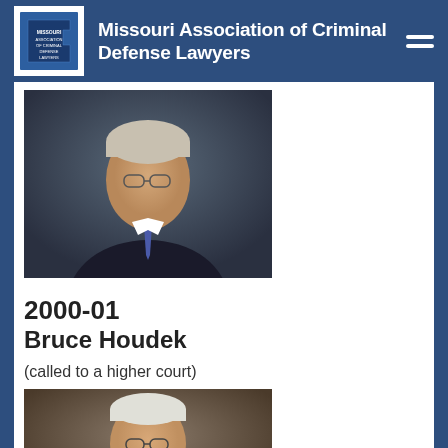Missouri Association of Criminal Defense Lawyers
[Figure (photo): Professional headshot of a man in a dark suit with glasses and gray hair against a dark background]
2000-01
Bruce Houdek
(called to a higher court)
[Figure (photo): Professional headshot of an older man with glasses, smiling, wearing a dark suit]